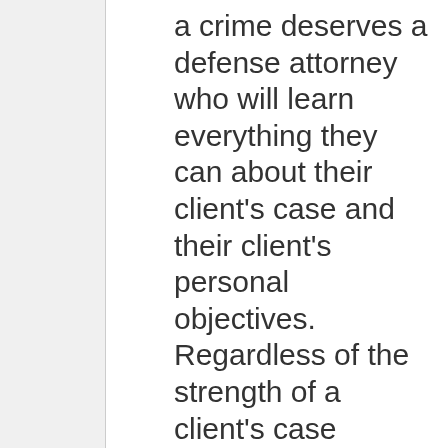a crime deserves a defense attorney who will learn everything they can about their client's case and their client's personal objectives. Regardless of the strength of a client's case